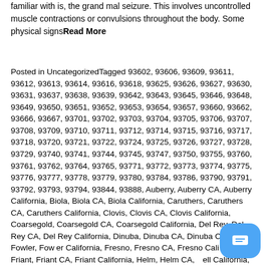familiar with is, the grand mal seizure. This involves uncontrolled muscle contractions or convulsions throughout the body. Some physical signsRead More
Posted in UncategorizedTagged 93602, 93606, 93609, 93611, 93612, 93613, 93614, 93616, 93618, 93625, 93626, 93627, 93630, 93631, 93637, 93638, 93639, 93642, 93643, 93645, 93646, 93648, 93649, 93650, 93651, 93652, 93653, 93654, 93657, 93660, 93662, 93666, 93667, 93701, 93702, 93703, 93704, 93705, 93706, 93707, 93708, 93709, 93710, 93711, 93712, 93714, 93715, 93716, 93717, 93718, 93720, 93721, 93722, 93724, 93725, 93726, 93727, 93728, 93729, 93740, 93741, 93744, 93745, 93747, 93750, 93755, 93760, 93761, 93762, 93764, 93765, 93771, 93772, 93773, 93774, 93775, 93776, 93777, 93778, 93779, 93780, 93784, 93786, 93790, 93791, 93792, 93793, 93794, 93844, 93888, Auberry, Auberry CA, Auberry California, Biola, Biola CA, Biola California, Caruthers, Caruthers CA, Caruthers California, Clovis, Clovis CA, Clovis California, Coarsegold, Coarsegold CA, Coarsegold California, Del Rey, Del Rey CA, Del Rey California, Dinuba, Dinuba CA, Dinuba California, Fowler, Fowler CA, Fowler California, Fresno, Fresno CA, Fresno California, Friant, Friant CA, Friant California, Helm, Helm CA, Helm California, Kerman, Kerman CA, Kerman California, Kingsburg, Kingsburg CA, Kingsburg California, Madera